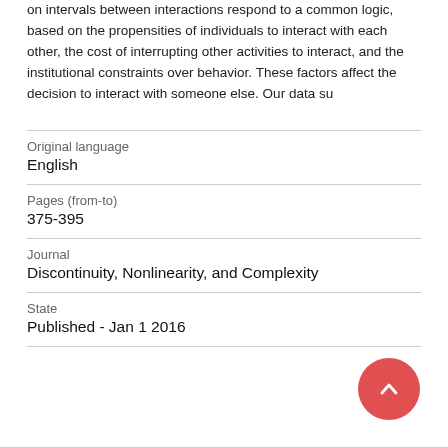on intervals between interactions respond to a common logic, based on the propensities of individuals to interact with each other, the cost of interrupting other activities to interact, and the institutional constraints over behavior. These factors affect the decision to interact with someone else. Our data su
| Original language | English |
| Pages (from-to) | 375-395 |
| Journal | Discontinuity, Nonlinearity, and Complexity |
| State | Published - Jan 1 2016 |
[Figure (other): A circular back-to-top button with an upward chevron arrow, colored salmon/red.]